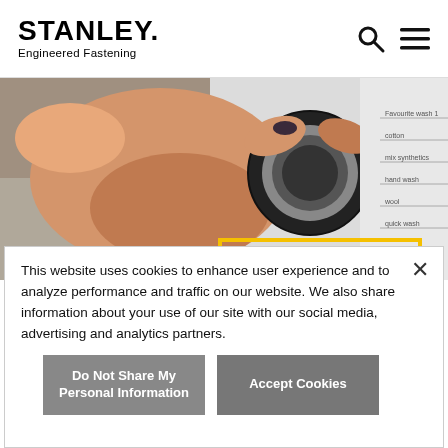STANLEY. Engineered Fastening
[Figure (photo): A hand with dark painted nails turning a washing machine dial/knob showing program options: favourite wash 1, cotton, mix synthetics, hand wash, wool, quick wash]
This website uses cookies to enhance user experience and to analyze performance and traffic on our website. We also share information about your use of our site with our social media, advertising and analytics partners.
Do Not Share My Personal Information
Accept Cookies